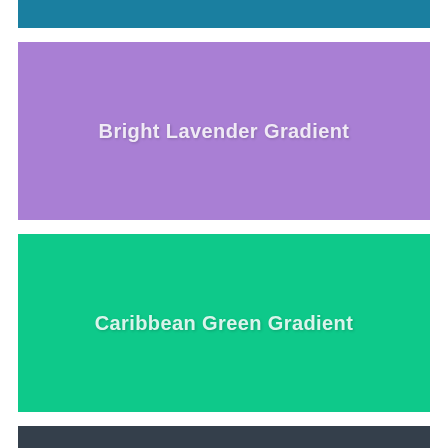[Figure (illustration): Teal/steel blue horizontal color stripe at top]
[Figure (illustration): Bright lavender purple horizontal gradient color swatch with label 'Bright Lavender Gradient' in white text]
[Figure (illustration): Caribbean green horizontal gradient color swatch with label 'Caribbean Green Gradient' in white text]
[Figure (illustration): Dark charcoal/slate horizontal color stripe at bottom]